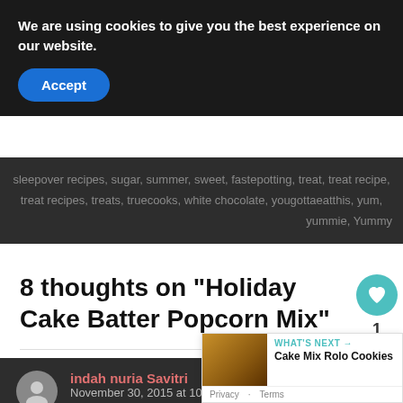We are using cookies to give you the best experience on our website.
Accept
sleepover recipes, sugar, summer, sweet, fastepotting, treat, treat recipe, treat recipes, treats, truecooks, white chocolate, yougottaeatthis, yum, yummie, Yummy
8 thoughts on “Holiday Cake Batter Popcorn Mix”
1
indah nuria Savitri
November 30, 2015 at 10:25 PM
oh my…wait until my kids see it..It has all the ingr... love sooo much 😊
WHAT’S NEXT → Cake Mix Rolo Cookies
Privacy · Terms